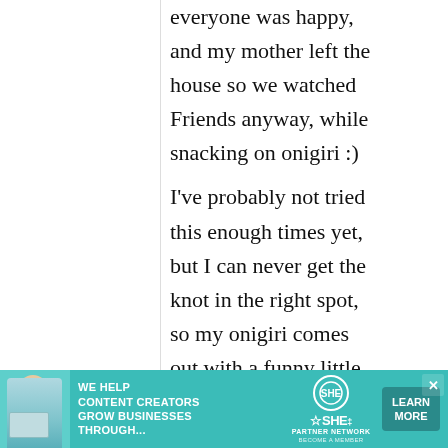everyone was happy, and my mother left the house so we watched Friends anyway, while snacking on onigiri :)

I've probably not tried this enough times yet, but I can never get the knot in the right spot, so my onigiri comes out with a funny little bread roll squish on
[Figure (illustration): Advertisement banner for SHE Media partner network. Teal/green background with image of woman at laptop, text 'WE HELP CONTENT CREATORS GROW BUSINESSES THROUGH...' SHE partner network logo, and 'LEARN MORE' button.]